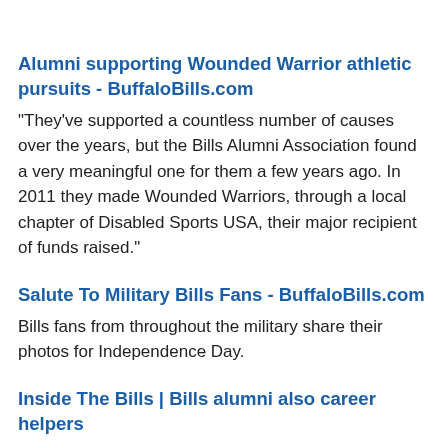Alumni supporting Wounded Warrior athletic pursuits - BuffaloBills.com
"They've supported a countless number of causes over the years, but the Bills Alumni Association found a very meaningful one for them a few years ago. In 2011 they made Wounded Warriors, through a local chapter of Disabled Sports USA, their major recipient of funds raised."
Salute To Military Bills Fans - BuffaloBills.com
Bills fans from throughout the military share their photos for Independence Day.
Inside The Bills | Bills alumni also career helpers
"One of our alumni attorneys has connect the athletic community...